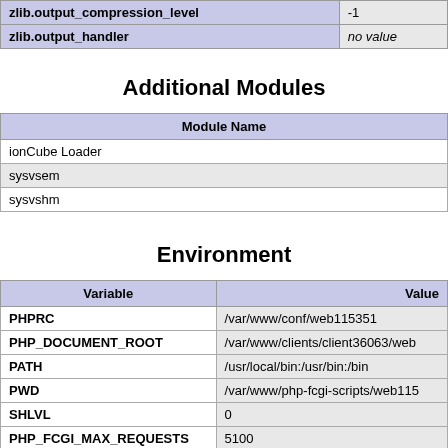| zlib.output_compression_level | -1 |
| zlib.output_handler | no value |
Additional Modules
| Module Name |
| --- |
| ionCube Loader |
| sysvsem |
| sysvshm |
Environment
| Variable | Value |
| --- | --- |
| PHPRC | /var/www/conf/web115351 |
| PHP_DOCUMENT_ROOT | /var/www/clients/client36063/web |
| PATH | /usr/local/bin:/usr/bin:/bin |
| PWD | /var/www/php-fcgi-scripts/web115 |
| SHLVL | 0 |
| PHP_FCGI_MAX_REQUESTS | 5100 |